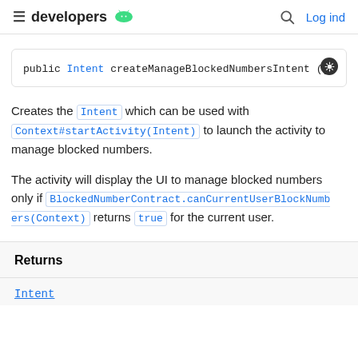developers | Log ind
public Intent createManageBlockedNumbersIntent ()
Creates the Intent which can be used with Context#startActivity(Intent) to launch the activity to manage blocked numbers.
The activity will display the UI to manage blocked numbers only if BlockedNumberContract.canCurrentUserBlockNumbers(Context) returns true for the current user.
Returns
Intent